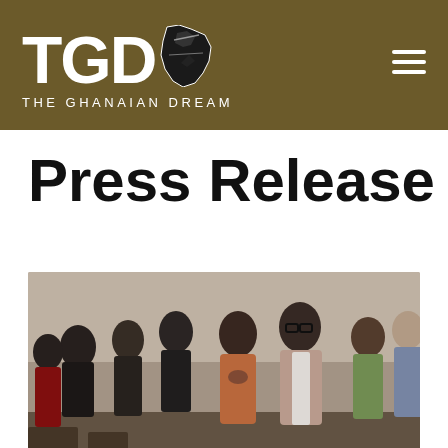[Figure (logo): TGD - The Ghanaian Dream logo on dark olive/brown background with Ghana map silhouette and hamburger menu icon]
Press Release
[Figure (photo): Group of people standing in a conference or event room, appearing to be engaged in an activity. A woman in a floral dress has her hand on her chest. A man in a light pink/mauve blazer stands next to her. Other attendees visible in background.]